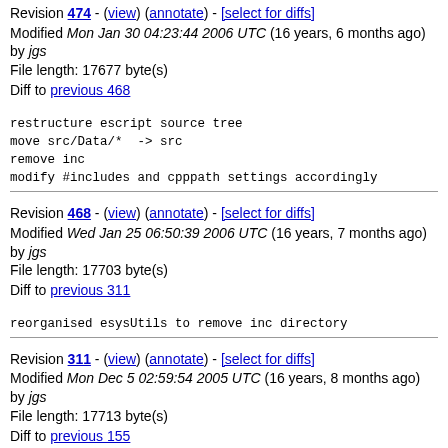Revision 474 - (view) (annotate) - [select for diffs]
Modified Mon Jan 30 04:23:44 2006 UTC (16 years, 6 months ago) by jgs
File length: 17677 byte(s)
Diff to previous 468
restructure escript source tree
move src/Data/* -> src
remove inc
modify #includes and cpppath settings accordingly
Revision 468 - (view) (annotate) - [select for diffs]
Modified Wed Jan 25 06:50:39 2006 UTC (16 years, 7 months ago) by jgs
File length: 17703 byte(s)
Diff to previous 311
reorganised esysUtils to remove inc directory
Revision 311 - (view) (annotate) - [select for diffs]
Modified Mon Dec 5 02:59:54 2005 UTC (16 years, 8 months ago) by jgs
File length: 17713 byte(s)
Diff to previous 155
remove references to ln and length methods which have